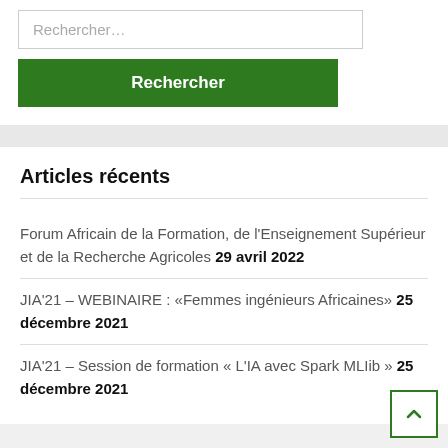Rechercher…
Rechercher
Articles récents
Forum Africain de la Formation, de l'Enseignement Supérieur et de la Recherche Agricoles 29 avril 2022
JIA'21 – WEBINAIRE : «Femmes ingénieurs Africaines» 25 décembre 2021
JIA'21 – Session de formation « L'IA avec Spark MLIib » 25 décembre 2021